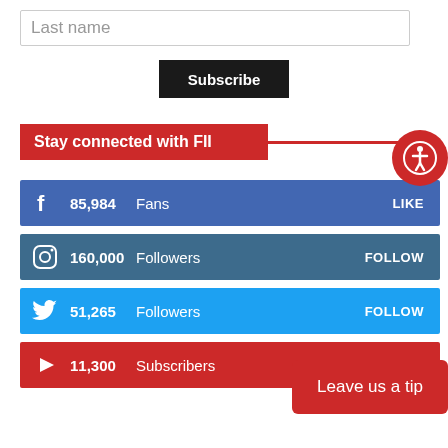Last name
Subscribe
Stay connected with FII
85,984  Fans  LIKE
160,000  Followers  FOLLOW
51,265  Followers  FOLLOW
11,300  Subscribers  SUBSCRIBE
Leave us a tip